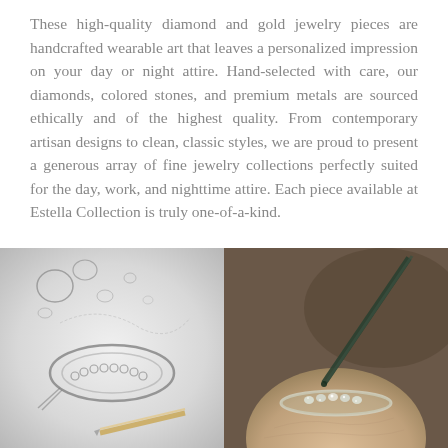These high-quality diamond and gold jewelry pieces are handcrafted wearable art that leaves a personalized impression on your day or night attire. Hand-selected with care, our diamonds, colored stones, and premium metals are sourced ethically and of the highest quality. From contemporary artisan designs to clean, classic styles, we are proud to present a generous array of fine jewelry collections perfectly suited for the day, work, and nighttime attire. Each piece available at Estella Collection is truly one-of-a-kind.
[Figure (photo): Black and white sketch/illustration of a diamond eternity band ring with loose diamonds scattered around it, along with a pencil and tweezers, suggesting a jewelry design process.]
[Figure (photo): Close-up photograph of a jeweler's hands using a tool to set stones into a ring, showing the detailed craftsmanship of fine jewelry creation.]